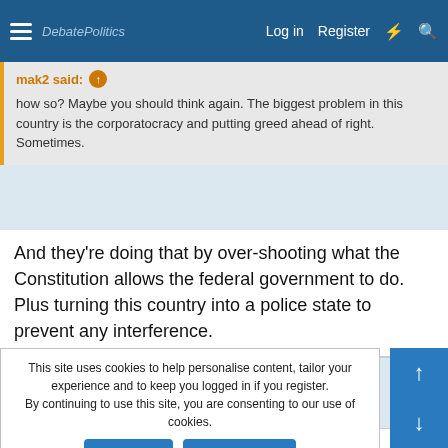DebatePolitics — Log in  Register
mak2 said: how so? Maybe you should think again. The biggest problem in this country is the corporatocracy and putting greed ahead of right. Sometimes.
And they're doing that by over-shooting what the Constitution allows the federal government to do. Plus turning this country into a police state to prevent any interference.
mak2
DP Veteran
Jul 15, 2013  #16
This site uses cookies to help personalise content, tailor your experience and to keep you logged in if you register.
By continuing to use this site, you are consenting to our use of cookies.
Accept  Learn more...